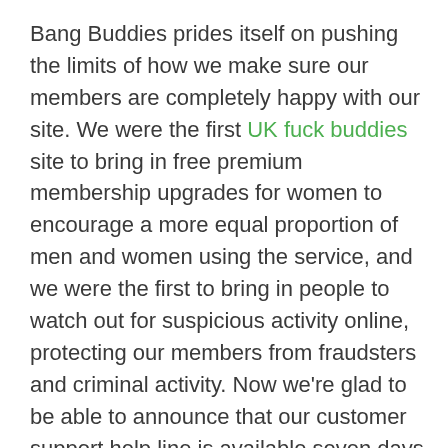Bang Buddies prides itself on pushing the limits of how we make sure our members are completely happy with our site. We were the first UK fuck buddies site to bring in free premium membership upgrades for women to encourage a more equal proportion of men and women using the service, and we were the first to bring in people to watch out for suspicious activity online, protecting our members from fraudsters and criminal activity. Now we're glad to be able to announce that our customer support help line is available seven days a week, and that it can be reached either by email or through a local rate phone line so that any issues you encounter can be quickly resolved.